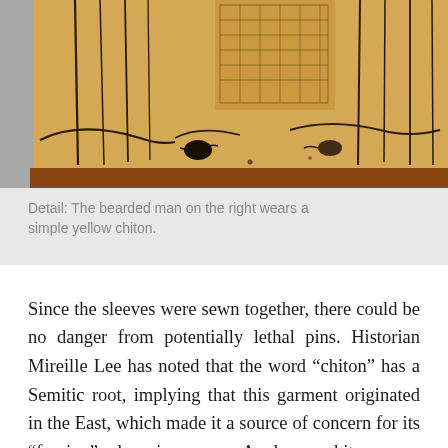[Figure (photo): Detail of an ancient Greek artifact (pottery/vase painting) showing figures including a bearded man on the right wearing a simple yellow chiton, depicted in black-figure style with amber/ochre tones.]
Detail: The bearded man on the right wears a simple yellow chiton.
Since the sleeves were sewn together, there could be no danger from potentially lethal pins. Historian Mireille Lee has noted that the word “chiton” has a Semitic root, implying that this garment originated in the East, which made it a source of concern for its “foreign” luxuriousness. A long chiton was originally worn by men, but as we have seen, it was adopted by